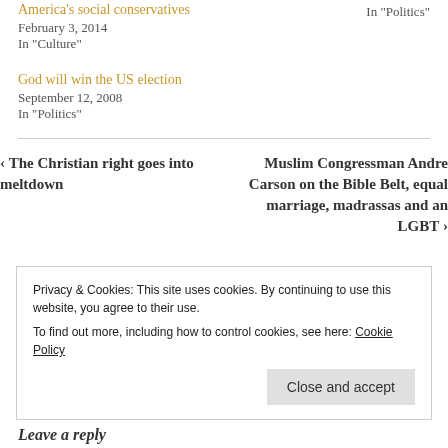America's social conservatives
In "Politics"
February 3, 2014
In "Culture"
God will win the US election
September 12, 2008
In "Politics"
‹ The Christian right goes into meltdown
Muslim Congressman Andre Carson on the Bible Belt, equal marriage, madrassas and an LGBT ›
Privacy & Cookies: This site uses cookies. By continuing to use this website, you agree to their use.
To find out more, including how to control cookies, see here: Cookie Policy
Close and accept
Leave a reply